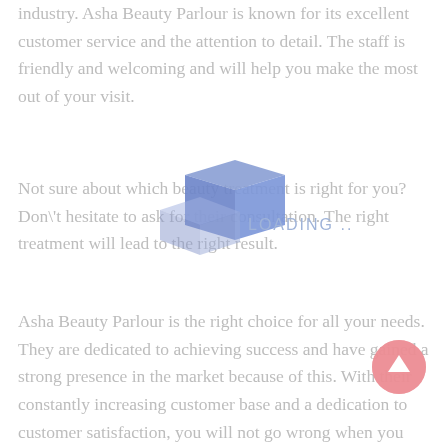industry. Asha Beauty Parlour is known for its excellent customer service and the attention to detail. The staff is friendly and welcoming and will help you make the most out of your visit.
Not sure about which beauty treatment is right for you? Don't hesitate to ask for their consultation. The right treatment will lead to the right result.
Asha Beauty Parlour is the right choice for all your needs. They are dedicated to achieving success and have gained a strong presence in the market because of this. With their constantly increasing customer base and a dedication to customer satisfaction, you will not go wrong when you choose Asha Beauty Parlour.